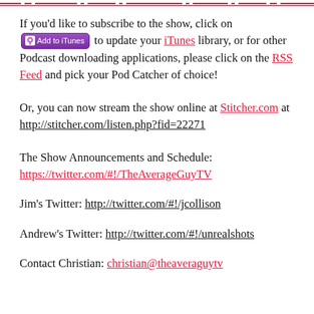[Figure (other): Decorative horizontal border line at the top of the page]
If you'd like to subscribe to the show, click on [Add to iTunes button] to update your iTunes library, or for other Podcast downloading applications, please click on the RSS Feed and pick your Pod Catcher of choice!
Or, you can now stream the show online at Stitcher.com at http://stitcher.com/listen.php?fid=22271
The Show Announcements and Schedule: https://twitter.com/#!/TheAverageGuyTV
Jim's Twitter: http://twitter.com/#!/jcollison
Andrew's Twitter: http://twitter.com/#!/unrealshots
Contact Christian: christian@theaverageGuytv